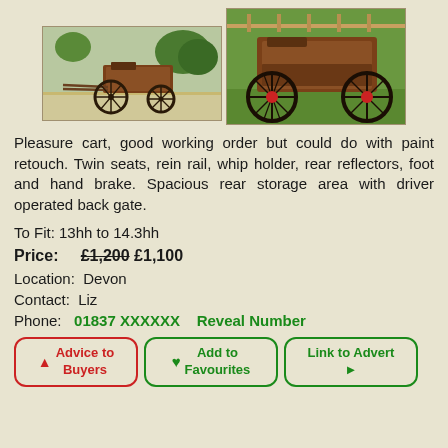[Figure (photo): Two photos of a pleasure cart (horse-drawn carriage). Left photo shows the cart from the side on a path. Right photo shows a closer view of the cart on grass.]
Pleasure cart, good working order but could do with paint retouch. Twin seats, rein rail, whip holder, rear reflectors, foot and hand brake. Spacious rear storage area with driver operated back gate.
To Fit: 13hh to 14.3hh
Price: £1,200 £1,100
Location: Devon
Contact: Liz
Phone: 01837 XXXXXX   Reveal Number
Advice to Buyers
Add to Favourites
Link to Advert